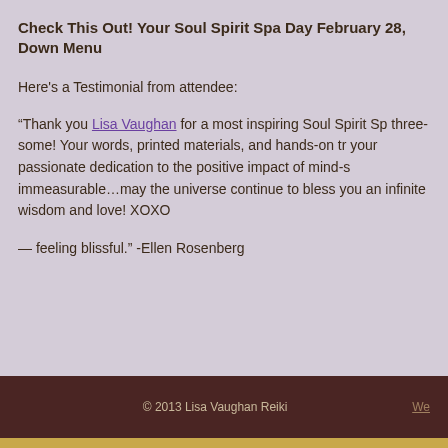Check This Out! Your Soul Spirit Spa Day February 28, Down Menu
Here's a Testimonial from attendee:
“Thank you Lisa Vaughan for a most inspiring Soul Spirit Sp three-some! Your words, printed materials, and hands-on tr your passionate dedication to the positive impact of mind-s immeasurable…may the universe continue to bless you an infinite wisdom and love! XOXO
— feeling blissful.”  -Ellen Rosenberg
© 2013 Lisa Vaughan Reiki  We